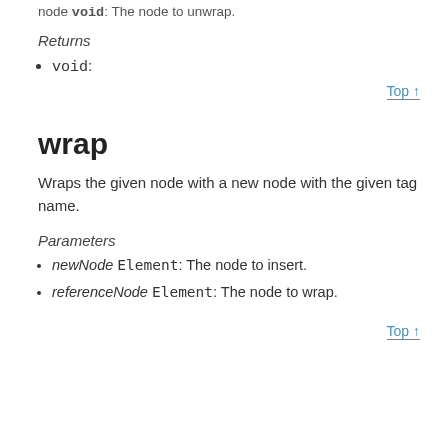node void: The node to unwrap.
Returns
void:
Top ↑
wrap
Wraps the given node with a new node with the given tag name.
Parameters
newNode Element: The node to insert.
referenceNode Element: The node to wrap.
Top ↑